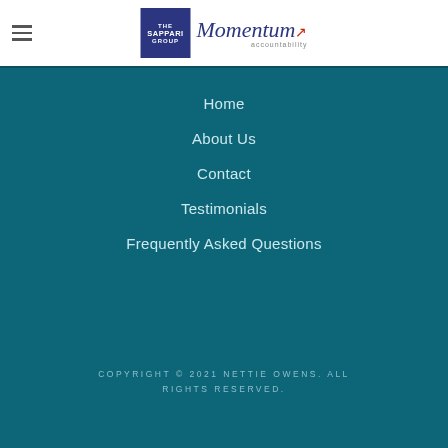[Figure (logo): The Sappari Group logo (blue square with text) and Momentum Accountability stylized script logo]
Home
About Us
Contact
Testimonials
Frequently Asked Questions
COPYRIGHT © 2021 NETTIE OWENS. ALL RIGHTS RESERVED.